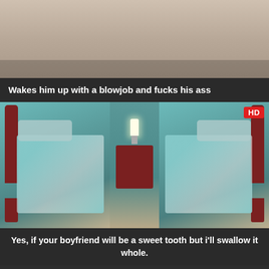[Figure (photo): Thumbnail image showing partial view of a person on a bed, top of page]
Wakes him up with a blowjob and fucks his ass
[Figure (photo): Video thumbnail showing two men in separate beds in a bedroom with teal walls and a nightstand between them. HD badge in top right corner.]
Yes, if your boyfriend will be a sweet tooth but i'll swallow it whole.
[Figure (photo): Dark/blank video thumbnail with HD badge in top right corner.]